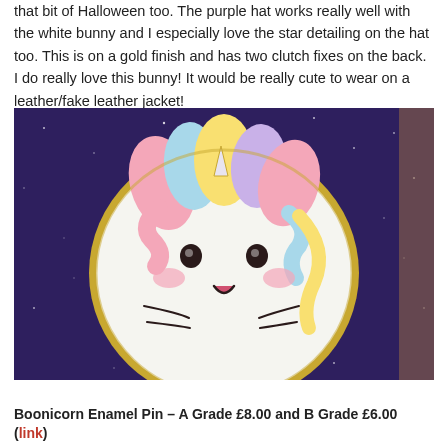that bit of Halloween too. The purple hat works really well with the white bunny and I especially love the star detailing on the hat too. This is on a gold finish and has two clutch fixes on the back. I do really love this bunny! It would be really cute to wear on a leather/fake leather jacket!
[Figure (photo): Photo of a round white enamel pin depicting a cute kawaii-style unicorn/bunny character with a rainbow-colored mane (pink, yellow, blue, purple), small dark eyes, pink cheek marks, an open mouth, and whisker lines, photographed on a dark purple starry background with gold trim on the pin.]
Boonicorn Enamel Pin – A Grade £8.00 and B Grade £6.00 (link)